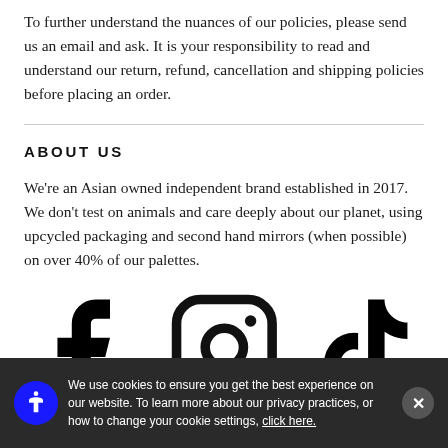To further understand the nuances of our policies, please send us an email and ask. It is your responsibility to read and understand our return, refund, cancellation and shipping policies before placing an order.
ABOUT US
We're an Asian owned independent brand established in 2017. We don't test on animals and care deeply about our planet, using upcycled packaging and second hand mirrors (when possible) on over 40% of our palettes.
[Figure (illustration): Social media icons: Facebook, Instagram, TikTok]
We use cookies to ensure you get the best experience on our website. To learn more about our privacy practices, or how to change your cookie settings, click here.